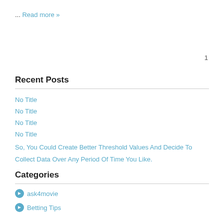... Read more »
1
Recent Posts
No Title
No Title
No Title
No Title
So, You Could Create Better Threshold Values And Decide To Collect Data Over Any Period Of Time You Like.
Categories
ask4movie
Betting Tips